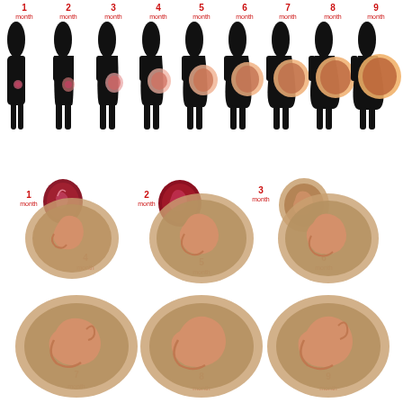[Figure (illustration): Infographic showing 9 months of pregnancy progression. Top half: 9 black silhouettes of a pregnant woman in profile from month 1 to month 9, each showing increasing belly size with a colored illustration of the fetus/embryo inside, labeled 1 month through 9 month in red above each silhouette. Bottom half: 9 detailed anatomical illustrations of fetal development from month 1 (embryo) through month 9 (full-term fetus), each with a red month label. Months 1-3 shown smaller at top row, months 4-6 in middle row, months 7-9 in bottom row, each progressively larger.]